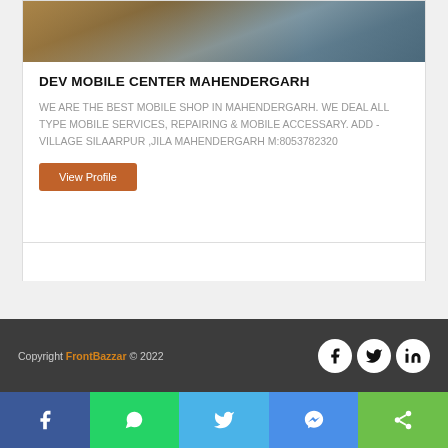[Figure (photo): Interior of a mobile/electronics shop with glass display counters]
DEV MOBILE CENTER MAHENDERGARH
WE ARE THE BEST MOBILE SHOP IN MAHENDERGARH. WE DEAL ALL TYPE MOBILE SERVICES, REPAIRING & MOBILE ACCESSARY. ADD - VILLAGE SILAARPUR ,JILA MAHENDERGARH M:8053782320
View Profile
Copyright FrontBazzar © 2022